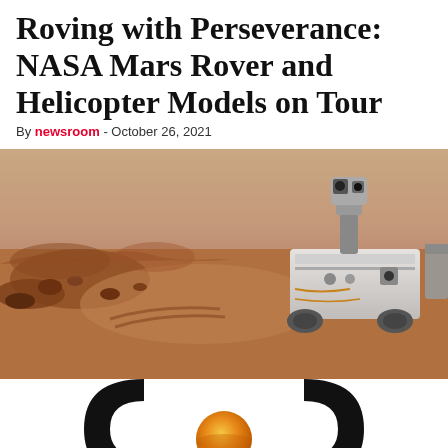Roving with Perseverance: NASA Mars Rover and Helicopter Models on Tour
By newsroom - October 26, 2021
[Figure (photo): Selfie photograph of the NASA Perseverance Mars rover on the Martian surface, showing the rover's mast camera and instruments against a dusty red Martian landscape with scattered rocks]
[Figure (logo): Partial circular logo with black arc shapes on left and right and an orange/gold planet sphere in the center, on white background]